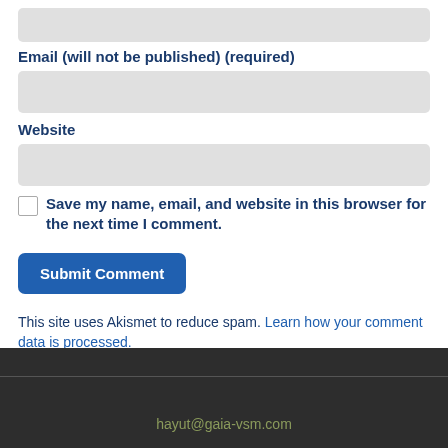Email (will not be published) (required)
[Figure (other): Email input field (light gray rounded rectangle)]
Website
[Figure (other): Website input field (light gray rounded rectangle)]
Save my name, email, and website in this browser for the next time I comment.
[Figure (other): Submit Comment button (blue rounded rectangle)]
This site uses Akismet to reduce spam. Learn how your comment data is processed.
hayut@gaia-vsm.com